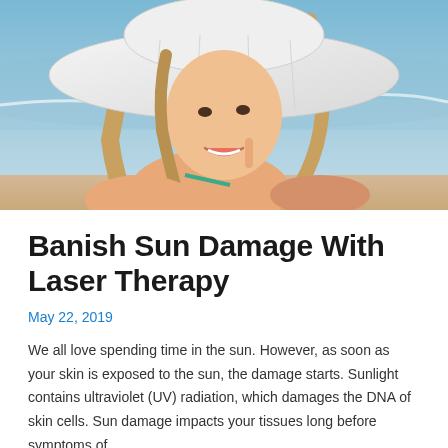[Figure (photo): Young woman at the beach wearing a large white sun hat, smiling, touching her face, with ocean waves in the background]
Banish Sun Damage With Laser Therapy
May 22, 2019
We all love spending time in the sun. However, as soon as your skin is exposed to the sun, the damage starts. Sunlight contains ultraviolet (UV) radiation, which damages the DNA of skin cells. Sun damage impacts your tissues long before symptoms of